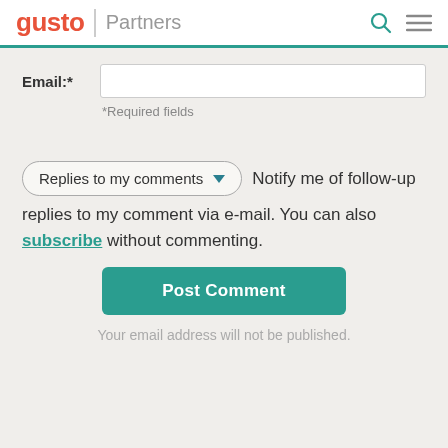gusto | Partners
Email:*
*Required fields
Replies to my comments ▾  Notify me of follow-up replies to my comment via e-mail. You can also subscribe without commenting.
Post Comment
Your email address will not be published.